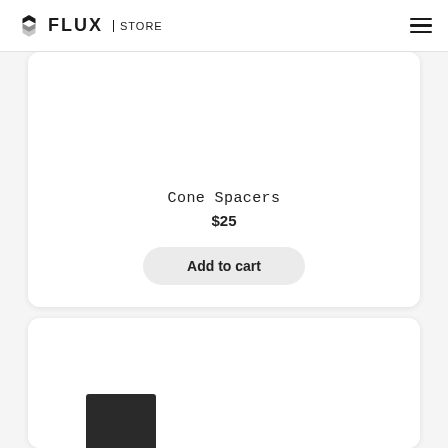FLUX | STORE
Cone Spacers
$25
Add to cart
[Figure (photo): Second product card with a dark rectangular product item partially visible at the bottom of the page]